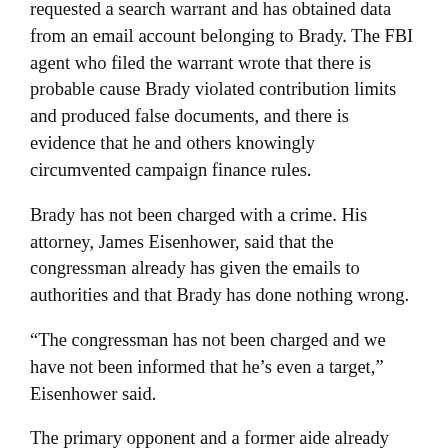requested a search warrant and has obtained data from an email account belonging to Brady. The FBI agent who filed the warrant wrote that there is probable cause Brady violated contribution limits and produced false documents, and there is evidence that he and others knowingly circumvented campaign finance rules.
Brady has not been charged with a crime. His attorney, James Eisenhower, said that the congressman already has given the emails to authorities and that Brady has done nothing wrong.
“The congressman has not been charged and we have not been informed that he’s even a target,” Eisenhower said.
The primary opponent and a former aide already have pleaded guilty to concealing the payment. Two political consultants also have been charged in the case.
The warrant, which was executed earlier this month, states that Brady and his primary challenger agreed that the payment “would be disguised” and that the deception would